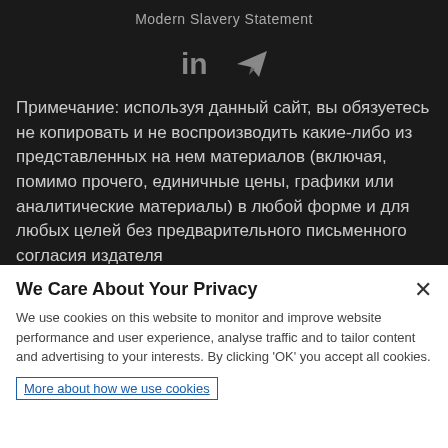Modern Slavery Statement
[Figure (illustration): Social media icons: LinkedIn (in) and Telegram (paper plane) in grey on dark background]
Примечание: используя данный сайт, вы обязуетесь не копировать и не воспроизводить какие-либо из представленных на нем материалов (включая, помимо прочего, единичные цены, графики или аналитические материалы) в любой форме и для любых целей без предварительного письменного согласия издателя
We Care About Your Privacy
We use cookies on this website to monitor and improve website performance and user experience, analyse traffic and to tailor content and advertising to your interests. By clicking 'OK' you accept all cookies.
More about how we use cookies